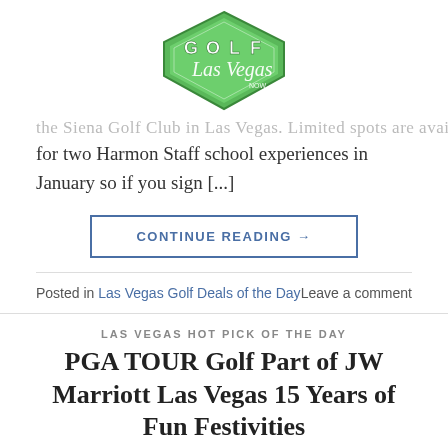[Figure (logo): Golf Las Vegas NOW logo — diamond/shield shape with green background and white lettering]
... the Siena Golf Club in Las Vegas. Limited spots are available for two Harmon Staff school experiences in January so if you sign [...]
CONTINUE READING →
Posted in Las Vegas Golf Deals of the Day   Leave a comment
LAS VEGAS HOT PICK OF THE DAY
PGA TOUR Golf Part of JW Marriott Las Vegas 15 Years of Fun Festivities
POSTED ON DECEMBER 18, 2014 BY ADMINISTRATOR
[Figure (photo): Bottom strip of a photo showing trees and blue sky]